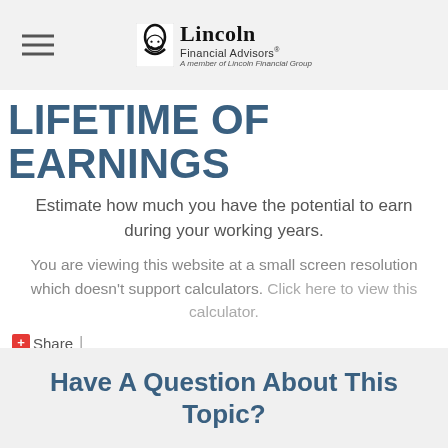Lincoln Financial Advisors® — A member of Lincoln Financial Group
LIFETIME OF EARNINGS
Estimate how much you have the potential to earn during your working years.
You are viewing this website at a small screen resolution which doesn't support calculators. Click here to view this calculator.
+ Share  |
Have A Question About This Topic?